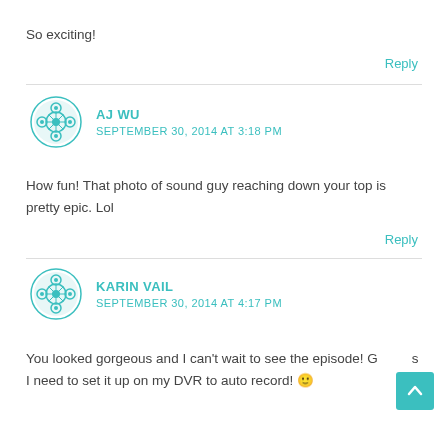So exciting!
Reply
AJ WU
SEPTEMBER 30, 2014 AT 3:18 PM
How fun! That photo of sound guy reaching down your top is pretty epic. Lol
Reply
KARIN VAIL
SEPTEMBER 30, 2014 AT 4:17 PM
You looked gorgeous and I can't wait to see the episode! Guess I need to set it up on my DVR to auto record! 🙂